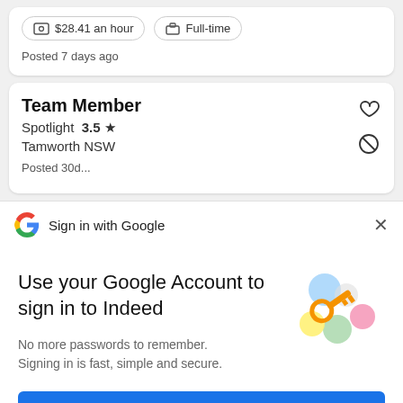$28.41 an hour  Full-time
Posted 7 days ago
Team Member
Spotlight  3.5 ★
Tamworth NSW
Posted 30d...
Sign in with Google
Use your Google Account to sign in to Indeed
No more passwords to remember.
Signing in is fast, simple and secure.
[Figure (illustration): Google sign-in key illustration with colorful circles and a golden key]
Continue